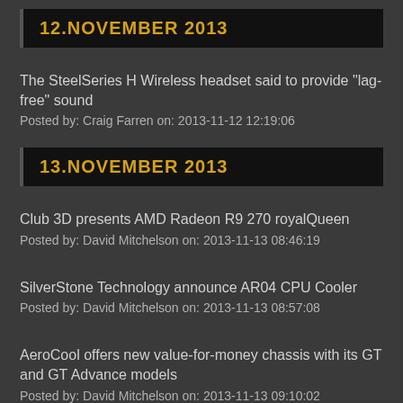12.NOVEMBER 2013
The SteelSeries H Wireless headset said to provide "lag-free" sound
Posted by: Craig Farren on: 2013-11-12 12:19:06
13.NOVEMBER 2013
Club 3D presents AMD Radeon R9 270 royalQueen
Posted by: David Mitchelson on: 2013-11-13 08:46:19
SilverStone Technology announce AR04 CPU Cooler
Posted by: David Mitchelson on: 2013-11-13 08:57:08
AeroCool offers new value-for-money chassis with its GT and GT Advance models
Posted by: David Mitchelson on: 2013-11-13 09:10:02
MSI R9 270 GAMING 2G available now